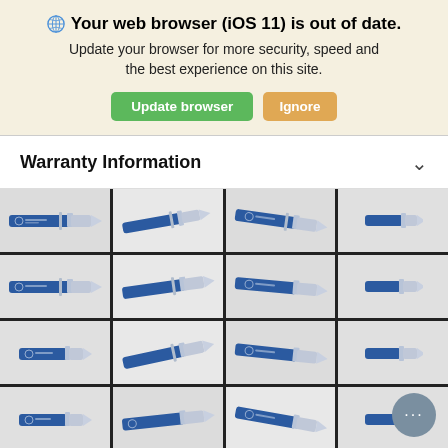🌐 Your web browser (iOS 11) is out of date. Update your browser for more security, speed and the best experience on this site. [Update browser] [Ignore]
Warranty Information
[Figure (photo): Grid of branded blue ballpoint pens (Hatton brand) arranged in white display trays, shown in a 4-column by 4-row grid layout. A chat/help bubble icon is visible in the bottom-right area.]